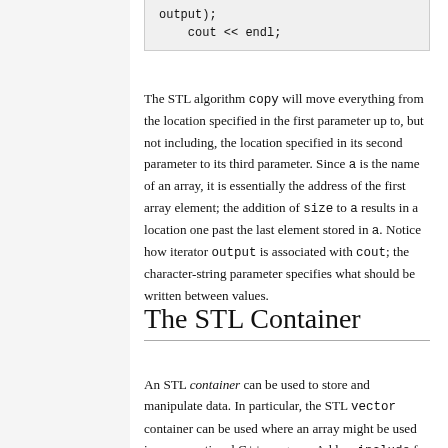[Figure (screenshot): Code snippet showing: output);
    cout << endl;]
The STL algorithm copy will move everything from the location specified in the first parameter up to, but not including, the location specified in its second parameter to its third parameter. Since a is the name of an array, it is essentially the address of the first array element; the addition of size to a results in a location one past the last element stored in a. Notice how iterator output is associated with cout; the character-string parameter specifies what should be written between values.
The STL Container
An STL container can be used to store and manipulate data. In particular, the STL vector container can be used where an array might be used in a conventional C++ program. Add an include for the header file vector to file